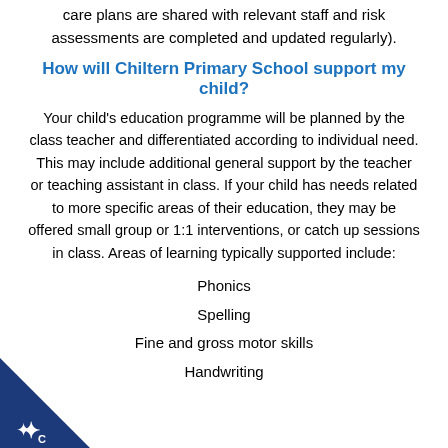care plans are shared with relevant staff and risk assessments are completed and updated regularly).
How will Chiltern Primary School support my child?
Your child's education programme will be planned by the class teacher and differentiated according to individual need. This may include additional general support by the teacher or teaching assistant in class. If your child has needs related to more specific areas of their education, they may be offered small group or 1:1 interventions, or catch up sessions in class. Areas of learning typically supported include:
Phonics
Spelling
Fine and gross motor skills
Handwriting